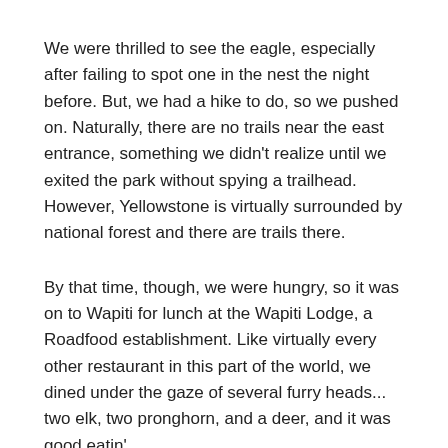We were thrilled to see the eagle, especially after failing to spot one in the nest the night before. But, we had a hike to do, so we pushed on. Naturally, there are no trails near the east entrance, something we didn't realize until we exited the park without spying a trailhead. However, Yellowstone is virtually surrounded by national forest and there are trails there.
By that time, though, we were hungry, so it was on to Wapiti for lunch at the Wapiti Lodge, a Roadfood establishment. Like virtually every other restaurant in this part of the world, we dined under the gaze of several furry heads... two elk, two pronghorn, and a deer, and it was good eatin'.
[Figure (photo): Broken image placeholder with filename 'dscn1192']